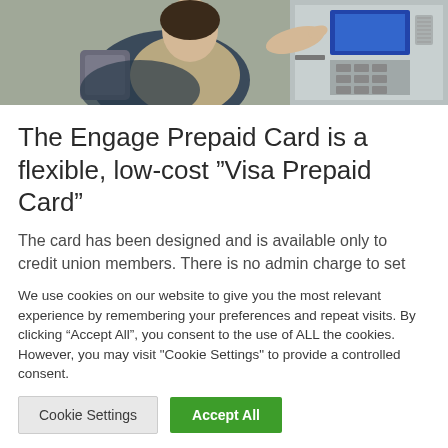[Figure (photo): Photo of a woman using an ATM machine, wearing a winter jacket and carrying a backpack, pointing at the ATM screen]
The Engage Prepaid Card is a flexible, low-cost "Visa Prepaid Card"
The card has been designed and is available only to credit union members. There is no admin charge to set
We use cookies on our website to give you the most relevant experience by remembering your preferences and repeat visits. By clicking “Accept All”, you consent to the use of ALL the cookies. However, you may visit "Cookie Settings" to provide a controlled consent.